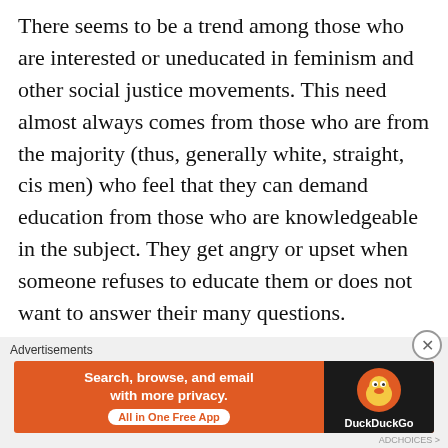There seems to be a trend among those who are interested or uneducated in feminism and other social justice movements. This need almost always comes from those who are from the majority (thus, generally white, straight, cis men) who feel that they can demand education from those who are knowledgeable in the subject. They get angry or upset when someone refuses to educate them or does not want to answer their many questions.

Often, the questions that are asked are easily answered via Google. There are many, many 101
[Figure (other): DuckDuckGo advertisement banner with orange background. Text reads: 'Search, browse, and email with more privacy. All in One Free App' with DuckDuckGo logo on dark right side. Labeled 'Advertisements' above.]